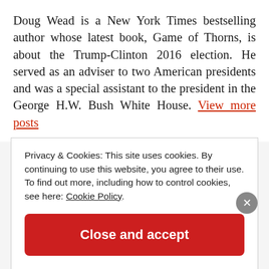Doug Wead is a New York Times bestselling author whose latest book, Game of Thorns, is about the Trump-Clinton 2016 election. He served as an adviser to two American presidents and was a special assistant to the president in the George H.W. Bush White House. View more posts
Privacy & Cookies: This site uses cookies. By continuing to use this website, you agree to their use. To find out more, including how to control cookies, see here: Cookie Policy
Close and accept